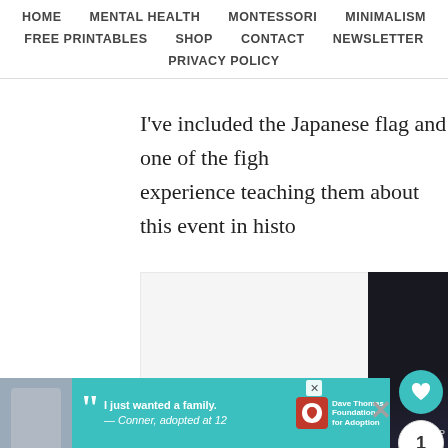HOME   MENTAL HEALTH   MONTESSORI   MINIMALISM   FREE PRINTABLES   SHOP   CONTACT   NEWSLETTER   PRIVACY POLICY
I've included the Japanese flag and one of the figh experience teaching them about this event in histo
[Figure (photo): Large white/light grey image placeholder area on left, dark panel on right with social buttons (heart, count 1, share)]
[Figure (photo): Advertisement banner: photo of a teenage boy, teal background with quote 'I just wanted a family. — Conner, adopted at 12', Dave Thomas Foundation for Adoption logo]